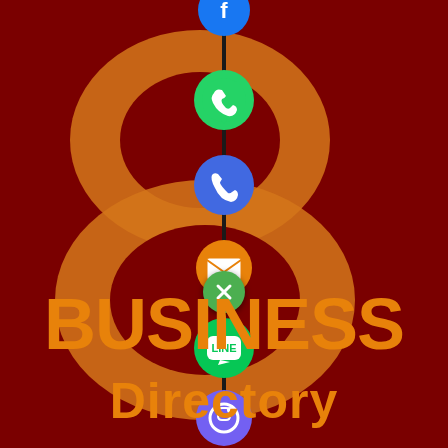[Figure (infographic): Business Directory promotional graphic with a large orange '8' shape on dark red background, a vertical chain of social/communication app icons (Facebook, WhatsApp, Phone/Viber, Email, LINE, Viber, Close/Cancel) connected by a dark line running down the center, and large orange bold text reading 'BUSINESS Directory' at the bottom.]